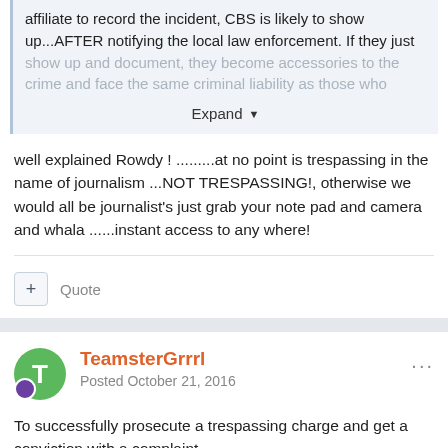affiliate to record the incident, CBS is likely to show up...AFTER notifying the local law enforcement. If they just show up and document, they become accessories to the crime and face the same criminal liability as those who
Expand
well explained Rowdy ! .........at no point is trespassing in the name of journalism ...NOT TRESPASSING!, otherwise we would all be journalist's just grab your note pad and camera and whala ......instant access to any where!
+ Quote
TeamsterGrrrl
Posted October 21, 2016
To successfully prosecute a trespassing charge and get a conviction with a complaint...